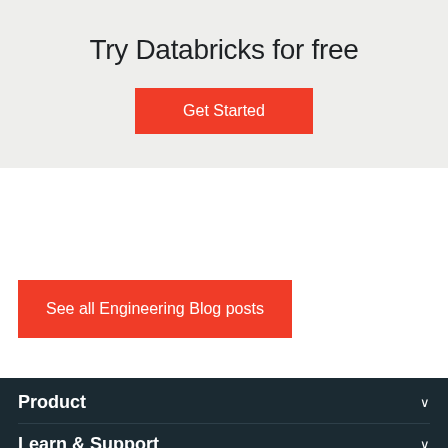Try Databricks for free
Get Started
See all Engineering Blog posts
Product
Learn & Support